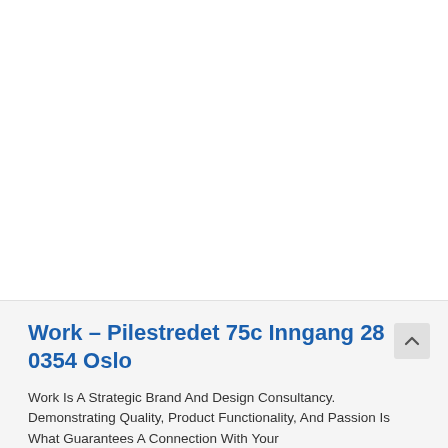Work – Pilestredet 75c Inngang 28 0354 Oslo
Work Is A Strategic Brand And Design Consultancy. Demonstrating Quality, Product Functionality, And Passion Is What Guarantees A Connection With Your